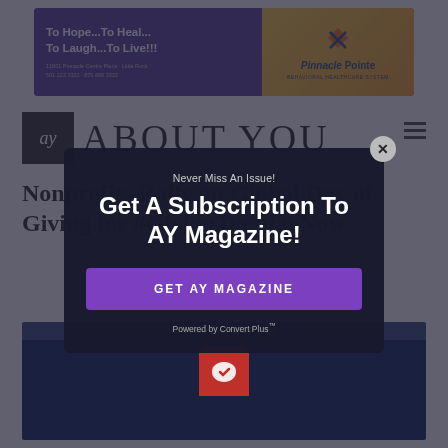[Figure (illustration): Pinnacle Pointe Behavioral Healthcare System advertisement banner with purple background, text 'To Hope...To Heal...To Laugh...To Live!!!' and Pinnacle Pointe logo on gold background]
ay ABOUT YOU
Nonprofits Rally on Global Day of Giving for #GivingTuesdayNow
[Figure (screenshot): Dark image with GivingTuesday branding and red icon at bottom of page]
Never Miss An Issue!
Get A Subscription To AY Magazine!
GET AY MAGAZINE
Powered by Convert Plus™